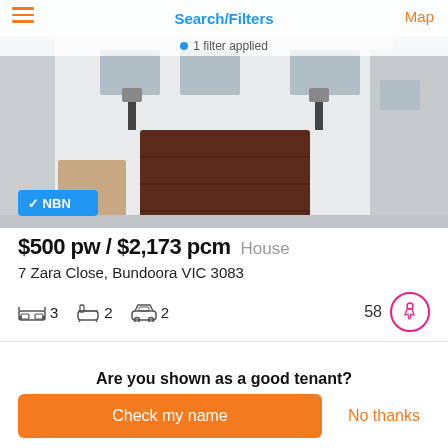Search/Filters
1 filter applied
[Figure (photo): Front exterior of a modern two-storey house with dark brown garage door and white render facade. NBN badge visible in lower left corner.]
$500 pw / $2,173 pcm   House
7 Zara Close, Bundoora VIC 3083
3 bedrooms, 2 bathrooms, 2 car spaces. Walk score: 58
Are you shown as a good tenant?
Check my name
No thanks